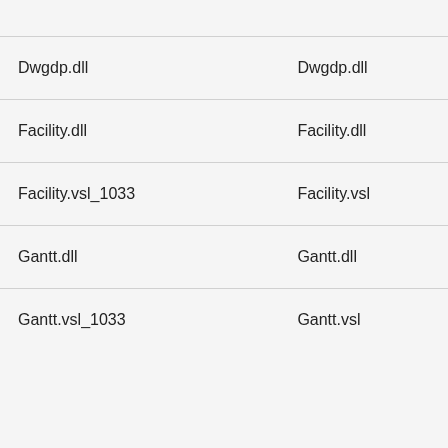|  |  |
| Dwgdp.dll | Dwgdp.dll |
| Facility.dll | Facility.dll |
| Facility.vsl_1033 | Facility.vsl |
| Gantt.dll | Gantt.dll |
| Gantt.vsl_1033 | Gantt.vsl |